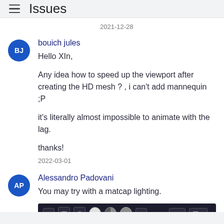Issues
2021-12-28
bouich jules
Hello XIn,

Any idea how to speed up the viewport after creating the HD mesh ? , i can't add mannequin ;P

it's literally almost impossible to animate with the lag.

thanks!
2022-03-01
Alessandro Padovani
You may try with a matcap lighting.
[Figure (screenshot): Screenshot of Blender viewport shading toolbar with Viewport Shading label visible]